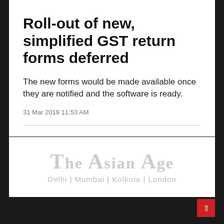Roll-out of new, simplified GST return forms deferred
The new forms would be made available once they are notified and the software is ready.
31 Mar 2019 11:53 AM
[Figure (logo): The Asian Age newspaper logo with tagline Delhi | Mumbai | Kolkota | London]